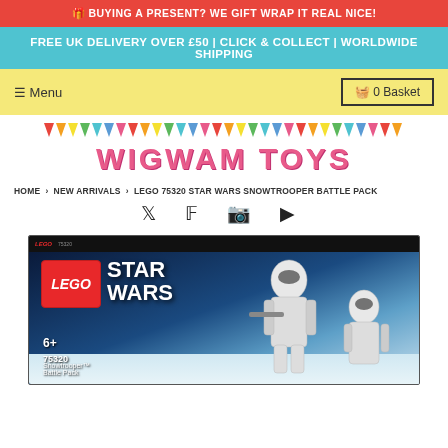🎁 BUYING A PRESENT? WE GIFT WRAP IT REAL NICE!
FREE UK DELIVERY OVER £50 | CLICK & COLLECT | WORLDWIDE SHIPPING
☰ Menu   🧺 0 Basket
[Figure (logo): Wigwam Toys logo with colorful bunting triangles above the text]
HOME › NEW ARRIVALS › LEGO 75320 STAR WARS SNOWTROOPER BATTLE PACK
[Figure (illustration): Social media icons: Twitter, Facebook, Instagram, YouTube]
[Figure (photo): LEGO 75320 Star Wars Snowtrooper Battle Pack box art showing Snowtroopers and Star Wars branding, 6+, set 75320]